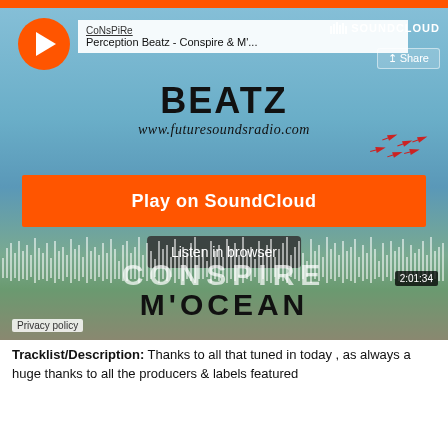[Figure (screenshot): SoundCloud embedded music player showing 'Perception Beatz - Conspire & M'...' with play button, share button, waveform, duration 2:01:34, and background image of beach/seafront with jets flying overhead. Text overlays: 'BEATZ', 'www.futuresoundsradio.com', 'CONSPIRE', 'M’OCEAN'. Orange 'Play on SoundCloud' button and 'Listen in browser' button visible.]
Tracklist/Description: Thanks to all that tuned in today , as always a huge thanks to all the producers & labels featured